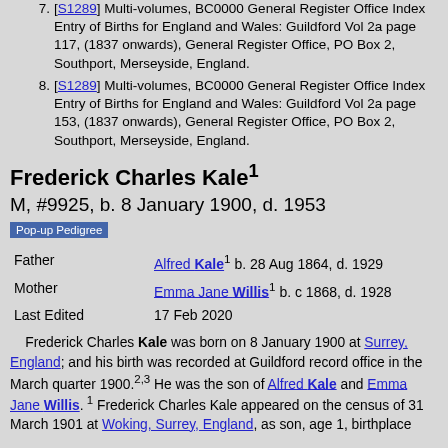7. [S1289] Multi-volumes, BC0000 General Register Office Index Entry of Births for England and Wales: Guildford Vol 2a page 117, (1837 onwards), General Register Office, PO Box 2, Southport, Merseyside, England.
8. [S1289] Multi-volumes, BC0000 General Register Office Index Entry of Births for England and Wales: Guildford Vol 2a page 153, (1837 onwards), General Register Office, PO Box 2, Southport, Merseyside, England.
Frederick Charles Kale¹
M, #9925, b. 8 January 1900, d. 1953
Pop-up Pedigree
| Field | Value |
| --- | --- |
| Father | Alfred Kale¹ b. 28 Aug 1864, d. 1929 |
| Mother | Emma Jane Willis¹ b. c 1868, d. 1928 |
| Last Edited | 17 Feb 2020 |
Frederick Charles Kale was born on 8 January 1900 at Surrey, England; and his birth was recorded at Guildford record office in the March quarter 1900.²·³ He was the son of Alfred Kale and Emma Jane Willis.¹ Frederick Charles Kale appeared on the census of 31 March 1901 at Woking, Surrey, England, as son, age 1, birthplace